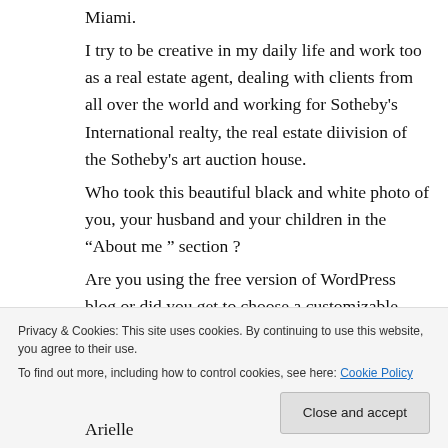Miami.
I try to be creative in my daily life and work too as a real estate agent, dealing with clients from all over the world and working for Sotheby's International realty, the real estate diivision of the Sotheby's art auction house.
Who took this beautiful black and white photo of you, your husband and your children in the “About me ” section ?
Are you using the free version of WordPress blog or did you get to choose a customizable
Arielle
Privacy & Cookies: This site uses cookies. By continuing to use this website, you agree to their use.
To find out more, including how to control cookies, see here: Cookie Policy